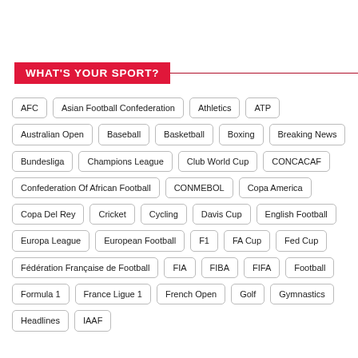WHAT'S YOUR SPORT?
AFC
Asian Football Confederation
Athletics
ATP
Australian Open
Baseball
Basketball
Boxing
Breaking News
Bundesliga
Champions League
Club World Cup
CONCACAF
Confederation Of African Football
CONMEBOL
Copa America
Copa Del Rey
Cricket
Cycling
Davis Cup
English Football
Europa League
European Football
F1
FA Cup
Fed Cup
Fédération Française de Football
FIA
FIBA
FIFA
Football
Formula 1
France Ligue 1
French Open
Golf
Gymnastics
Headlines
IAAF